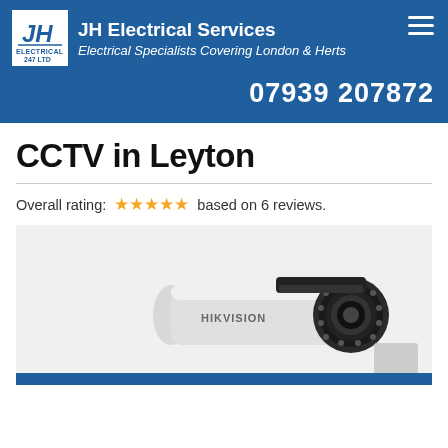[Figure (logo): JH Electrical 247 Ltd logo — blue and white square logo with stylized JH letters]
JH Electrical Services
Electrical Specialists Covering London & Herts
07939 207872
CCTV in Leyton
Overall rating: ★★★★★ based on 6 reviews.
[Figure (photo): Hikvision bullet CCTV camera, white body with black lens housing and IR LEDs, shown at angle]